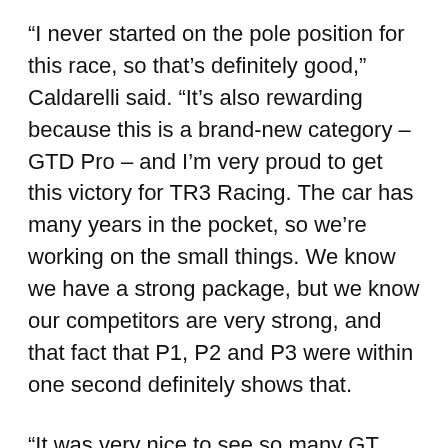“I never started on the pole position for this race, so that’s definitely good,” Caldarelli said. “It’s also rewarding because this is a brand-new category – GTD Pro – and I’m very proud to get this victory for TR3 Racing. The car has many years in the pocket, so we’re working on the small things. We know we have a strong package, but we know our competitors are very strong, and that fact that P1, P2 and P3 were within one second definitely shows that.
“It was very nice to see so many GT cars out there,” Caldarelli added. “The first two laps were very fun, and I enjoyed them a lot. Today showed that it’s going to be a very, very close race, and very tough,